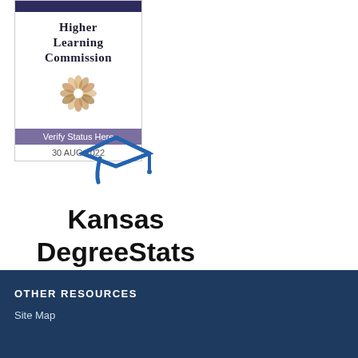[Figure (logo): Higher Learning Commission accreditation badge with purple bar at top, HLC text logo, decorative seal/snowflake, purple 'Verify Status Here' button, and date '30 AUG 2022']
[Figure (logo): Kansas DegreeStats logo with blue graduation cap icon above bold text 'Kansas DegreeStats']
OTHER RESOURCES
Site Map